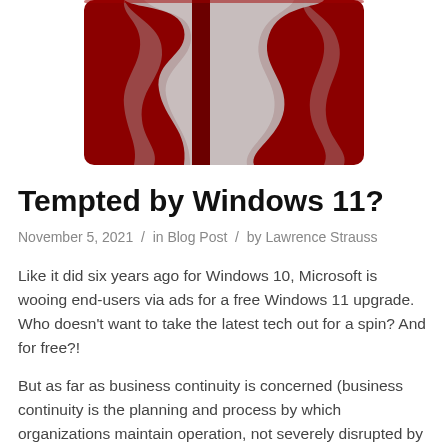[Figure (illustration): A stylized Windows 11 logo image on a dark red background. Two abstract white/gray swirling shapes suggest the Windows logo letterforms '11', separated by a vertical red stripe.]
Tempted by Windows 11?
November 5, 2021 / in Blog Post / by Lawrence Strauss
Like it did six years ago for Windows 10, Microsoft is wooing end-users via ads for a free Windows 11 upgrade. Who doesn't want to take the latest tech out for a spin? And for free?!
But as far as business continuity is concerned (business continuity is the planning and process by which organizations maintain operation, not severely disrupted by a disaster